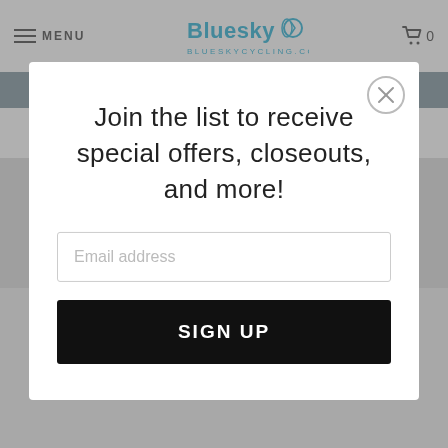MENU | Bluesky Cycling BLUESKYCYCLING.COM | 0
Save Big on Top Brands! Shop Now and Save
WTB All Terrain Tire   WTB Asym i35 Disc
Join the list to receive special offers, closeouts, and more!
Email address
SIGN UP
WTB Asym i35 Disc Tubeless Rim TCS 32 Hole 29er
Folding TCS Tubeless Tire 700c
Out of Stock